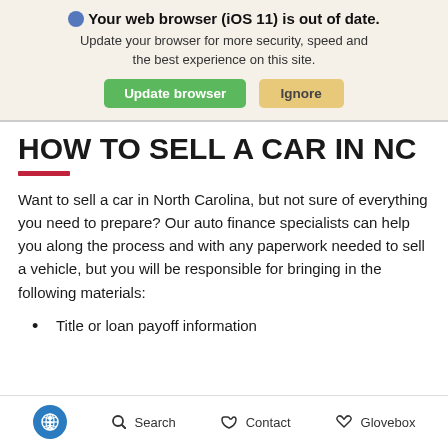Your web browser (iOS 11) is out of date. Update your browser for more security, speed and the best experience on this site. Update browser | Ignore
HOW TO SELL A CAR IN NC
Want to sell a car in North Carolina, but not sure of everything you need to prepare? Our auto finance specialists can help you along the process and with any paperwork needed to sell a vehicle, but you will be responsible for bringing in the following materials:
Title or loan payoff information
Accessibility | Search | Contact | Glovebox